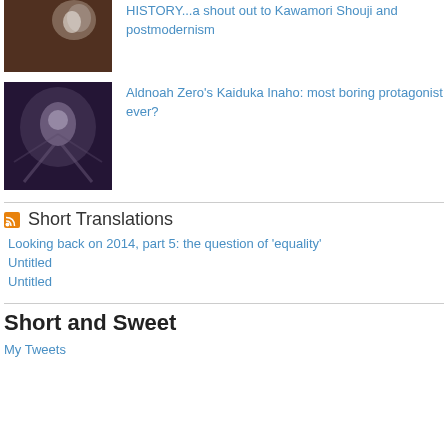[Figure (photo): Thumbnail image of a figure with a flower, dark reddish-brown background]
HISTORY...a shout out to Kawamori Shouji and postmodernism
[Figure (photo): Thumbnail image with dark purple/blue tones, abstract figure]
Aldnoah Zero's Kaiduka Inaho: most boring protagonist ever?
Short Translations
Looking back on 2014, part 5: the question of 'equality'
Untitled
Untitled
Short and Sweet
My Tweets